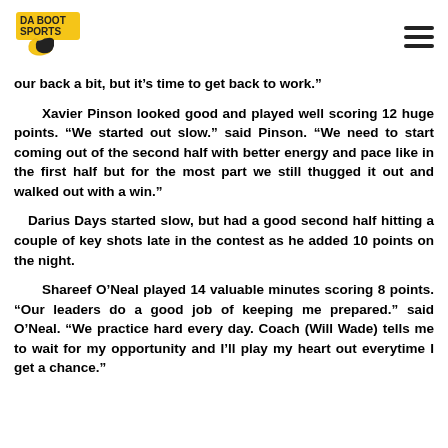Da Boot Sports
our back a bit, but it’s time to get back to work.”
Xavier Pinson looked good and played well scoring 12 huge points. “We started out slow.” said Pinson. “We need to start coming out of the second half with better energy and pace like in the first half but for the most part we still thugged it out and walked out with a win.”
Darius Days started slow, but had a good second half hitting a couple of key shots late in the contest as he added 10 points on the night.
Shareef O’Neal played 14 valuable minutes scoring 8 points. “Our leaders do a good job of keeping me prepared.” said O’Neal. “We practice hard every day. Coach (Will Wade) tells me to wait for my opportunity and I’ll play my heart out everytime I get a chance.”